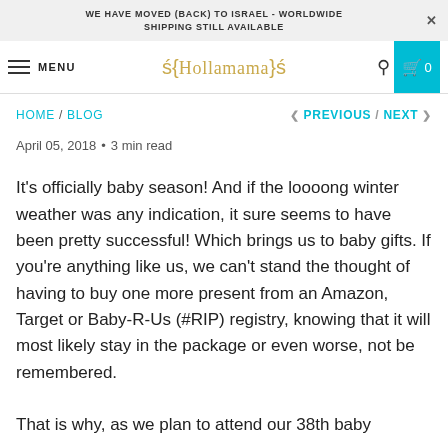WE HAVE MOVED (BACK) TO ISRAEL - WORLDWIDE SHIPPING STILL AVAILABLE
MENU | Hollamama | Search | Cart 0
HOME / BLOG    < PREVIOUS / NEXT >
April 05, 2018 • 3 min read
It's officially baby season! And if the loooong winter weather was any indication, it sure seems to have been pretty successful! Which brings us to baby gifts. If you're anything like us, we can't stand the thought of having to buy one more present from an Amazon, Target or Baby-R-Us (#RIP) registry, knowing that it will most likely stay in the package or even worse, not be remembered.
That is why, as we plan to attend our 38th baby